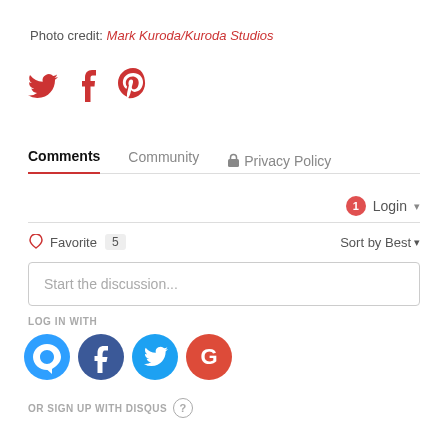Photo credit: Mark Kuroda/Kuroda Studios
[Figure (infographic): Social sharing icons: Twitter bird, Facebook f, Pinterest p in red]
Comments  Community  Privacy Policy
1 Login
Favorite 5  Sort by Best
Start the discussion...
LOG IN WITH
[Figure (infographic): Login icons: Disqus (D), Facebook (f), Twitter bird, Google (G) in blue/red circles]
OR SIGN UP WITH DISQUS ?